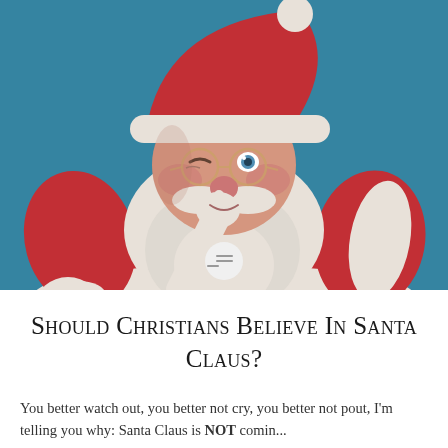[Figure (photo): A man dressed as Santa Claus with a white beard, round glasses, red Santa hat with white trim, red coat with white trim, holding a white-gloved finger to his lips in a 'shh' gesture, winking, against a teal/blue background.]
Should Christians Believe In Santa Claus?
You better watch out, you better not cry, you better not pout, I'm telling you why: Santa Claus is NOT coming...